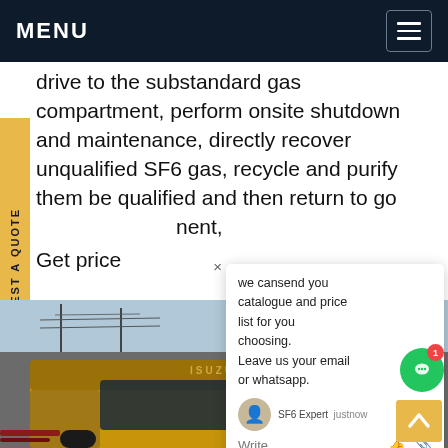MENU
drive to the substandard gas compartment, perform onsite shutdown and maintenance, directly recover unqualified SF6 gas, recycle and purify them be qualified and then return to go... nent,  Get price
[Figure (photo): Yellow ISUZU truck at an electrical substation with power line infrastructure visible in the background]
we cansend you catalogue and price list for you choosing. Leave us your email or whatsapp.
SF6 Expert  justnow
Write